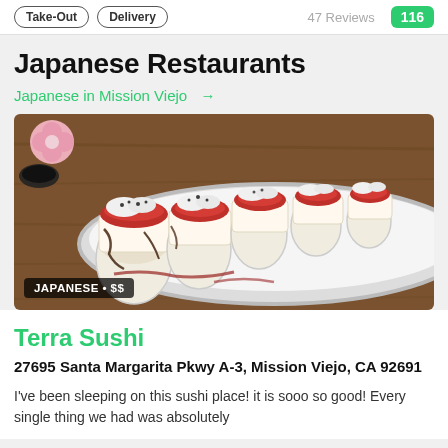Take-Out   Delivery   47 Reviews  116
Japanese Restaurants
Japanese in Mission Viejo →
[Figure (photo): Photo of sushi rolls on a white oval plate, topped with red tuna, white cream topping, and dark sauce drizzle, with pink flower garnish in background. Label reads: JAPANESE • $$]
Terra Sushi
27695 Santa Margarita Pkwy A-3, Mission Viejo, CA 92691
I've been sleeping on this sushi place! it is sooo so good! Every single thing we had was absolutely